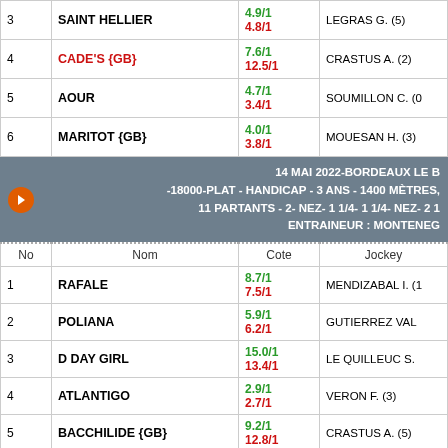| No | Nom | Cote | Jockey |
| --- | --- | --- | --- |
| 3 | SAINT HELLIER | 4.9/1
4.8/1 | LEGRAS G. (5) |
| 4 | CADE'S {GB} | 7.6/1
12.5/1 | CRASTUS A. (2) |
| 5 | AOUR | 4.7/1
3.4/1 | SOUMILLON C. (0) |
| 6 | MARITOT {GB} | 4.0/1
3.8/1 | MOUESAN H. (3) |
14 MAI 2022-BORDEAUX LE B -18000-PLAT - HANDICAP - 3 ANS - 1400 MÈTRES, 11 PARTANTS - 2- NEZ- 1 1/4- 1 1/4- NEZ- 2 1... ENTRAINEUR : MONTENEG
| No | Nom | Cote | Jockey |
| --- | --- | --- | --- |
| 1 | RAFALE | 8.7/1
7.5/1 | MENDIZABAL I. (1) |
| 2 | POLIANA | 5.9/1
6.2/1 | GUTIERREZ VAL |
| 3 | D DAY GIRL | 15.0/1
13.4/1 | LE QUILLEUC S. |
| 4 | ATLANTIGO | 2.9/1
2.7/1 | VERON F. (3) |
| 5 | BACCHILIDE {GB} | 9.2/1
12.8/1 | CRASTUS A. (5) |
| 6 | MASSA CUOR | 22.0/1 | FOULILLE A. (8) |